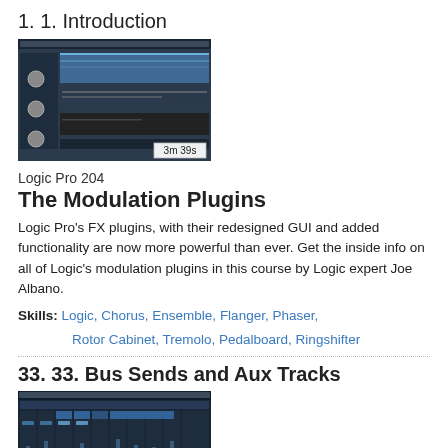1. 1. Introduction
[Figure (screenshot): Screenshot of Logic Pro showing a track with blue waveform region and faders, duration badge showing 3m 39s]
Logic Pro 204
The Modulation Plugins
Logic Pro's FX plugins, with their redesigned GUI and added functionality are now more powerful than ever. Get the inside info on all of Logic's modulation plugins in this course by Logic expert Joe Albano.
Skills: Logic, Chorus, Ensemble, Flanger, Phaser, Rotor Cabinet, Tremolo, Pedalboard, Ringshifter
33. 33. Bus Sends and Aux Tracks
[Figure (screenshot): Screenshot of Logic Pro mixer showing bus sends and aux tracks with blue highlights, duration badge showing 6m 26s]
Logic Pro 104